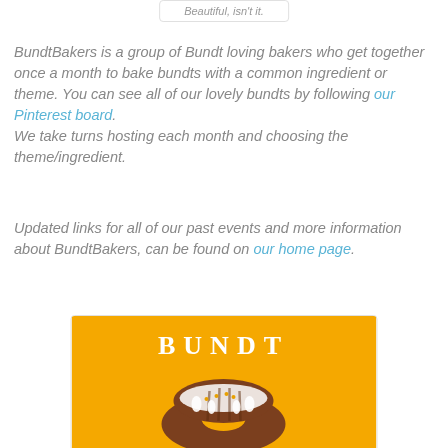Beautiful, isn't it.
BundtBakers is a group of Bundt loving bakers who get together once a month to bake bundts with a common ingredient or theme. You can see all of our lovely bundts by following our Pinterest board. We take turns hosting each month and choosing the theme/ingredient.
Updated links for all of our past events and more information about BundtBakers, can be found on our home page.
[Figure (illustration): Yellow/orange square card with white serif text 'BUNDT' at top and a bundt cake illustration with white icing drizzle below]